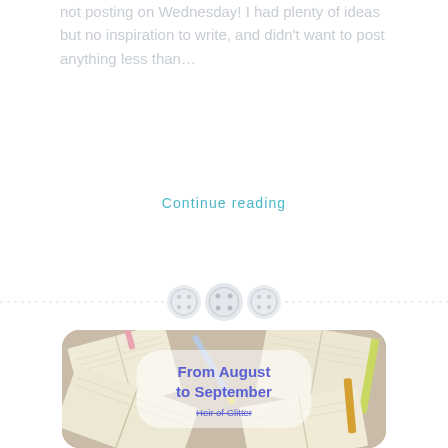not posting on Wednesday! I had plenty of ideas but no inspiration to write, and didn't want to post anything less than…
Continue reading
[Figure (illustration): Decorative divider with three button-like circular icons on a dashed horizontal line]
[Figure (photo): Overhead photo of multiple open books scattered on a surface with pens and pencils, overlaid with a speech-bubble shaped white translucent box containing the text 'From August to September' and 'Heir of Glitter' in blue handwritten-style font]